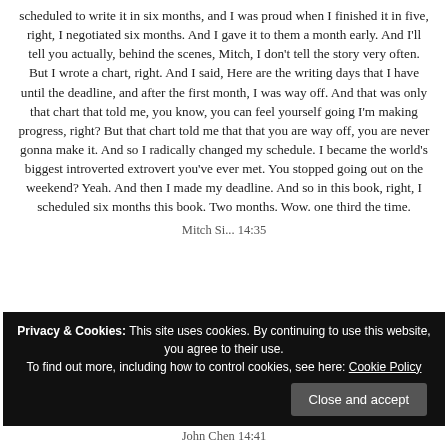scheduled to write it in six months, and I was proud when I finished it in five, right, I negotiated six months. And I gave it to them a month early. And I'll tell you actually, behind the scenes, Mitch, I don't tell the story very often. But I wrote a chart, right. And I said, Here are the writing days that I have until the deadline, and after the first month, I was way off. And that was only that chart that told me, you know, you can feel yourself going I'm making progress, right? But that chart told me that that you are way off, you are never gonna make it. And so I radically changed my schedule. I became the world's biggest introverted extrovert you've ever met. You stopped going out on the weekend? Yeah. And then I made my deadline. And so in this book, right, I scheduled six months this book. Two months. Wow. one third the time.
Mitch Si... 14:35
[Figure (screenshot): Cookie consent banner with black background reading: Privacy & Cookies: This site uses cookies. By continuing to use this website, you agree to their use. To find out more, including how to control cookies, see here: Cookie Policy. A 'Close and accept' button appears at bottom right.]
John Chen 14:41